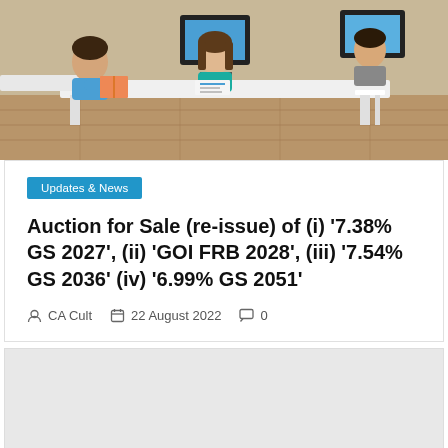[Figure (photo): Children sitting at white desks in a classroom, working with books and computers. A girl in a teal shirt is visible in the center, others around her.]
Updates & News
Auction for Sale (re-issue) of (i) '7.38% GS 2027', (ii) 'GOI FRB 2028', (iii) '7.54% GS 2036' (iv) '6.99% GS 2051'
CA Cult   22 August 2022   0
[Figure (other): Gray placeholder block]